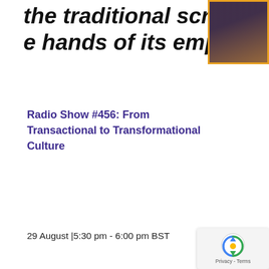the traditional script of company e hands of its employees.
Radio Show #456: From Transactional to Transformational Culture
29 August |5:30 pm - 6:00 pm BST
[Figure (photo): Cropped portrait photo of a person with orange/gold border frame, top right]
Special Guest: Carol Communicatio
GAGE R SUCCESS
st Show #458
uss how less internal comms 'noise'
[Figure (photo): Cropped portrait photo with orange/gold border frame, bottom right]
[Figure (other): reCAPTCHA widget with Privacy - Terms text]